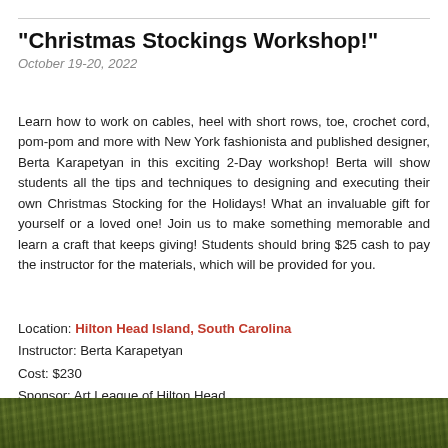"Christmas Stockings Workshop!"
October 19-20, 2022
Learn how to work on cables, heel with short rows, toe, crochet cord, pom-pom and more with New York fashionista and published designer, Berta Karapetyan in this exciting 2-Day workshop! Berta will show students all the tips and techniques to designing and executing their own Christmas Stocking for the Holidays! What an invaluable gift for yourself or a loved one! Join us to make something memorable and learn a craft that keeps giving! Students should bring $25 cash to pay the instructor for the materials, which will be provided for you.
Location: Hilton Head Island, South Carolina
Instructor: Berta Karapetyan
Cost: $230
Sponsor: Art League of Hilton Head
Website, email, (843) 842-5738
[Figure (photo): Bottom strip showing green pine branches and foliage, likely a decorative Christmas/holiday photo.]